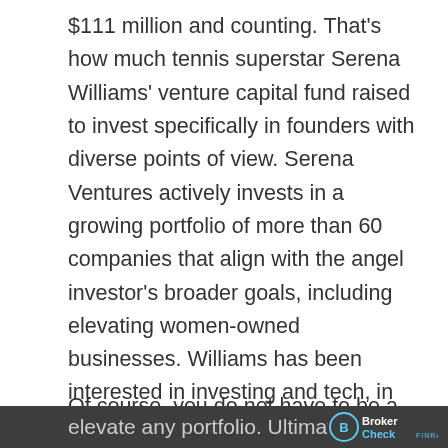$111 million and counting. That's how much tennis superstar Serena Williams' venture capital fund raised to invest specifically in founders with diverse points of view. Serena Ventures actively invests in a growing portfolio of more than 60 companies that align with the angel investor's broader goals, including elevating women-owned businesses. Williams has been interested in investing and tech, in particular, for a while but was blown away when she learned that less than 2% of venture capital went to women.
Of course, you do not have to be a mega-celebrity to effect change on a broader scale. Specialized strategies, many firmly rooted in what's known as sustainable investing, can elevate any portfolio. Ultimately, investing and...
elevate any portfolio. Ultimately, investing and...